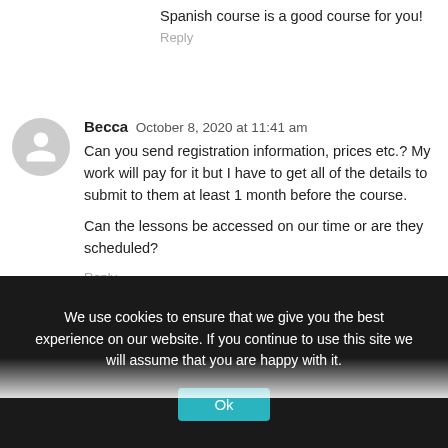Spanish course is a good course for you!
Reply
Becca  October 8, 2020 at 11:41 am
Can you send registration information, prices etc.? My work will pay for it but I have to get all of the details to submit to them at least 1 month before the course.

Can the lessons be accessed on our time or are they scheduled?
Reply
Rory Foster  October 8, 2020 at 12:30 pm  Post author
Hey Becca, thanks for the note! Yes the lessons are available for you to view and work through on your own
We use cookies to ensure that we give you the best experience on our website. If you continue to use this site we will assume that you are happy with it.